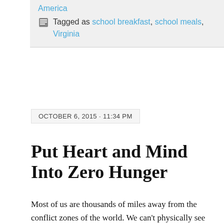America
Tagged as school breakfast, school meals, Virginia
OCTOBER 6, 2015 · 11:34 PM
Put Heart and Mind Into Zero Hunger
Most of us are thousands of miles away from the conflict zones of the world. We can't physically see the unprecedented number of hungry war refugees.
Surely if you saw these starving people, you would feed them. Even though you cannot see them, let's not allow them to be out of sight and out of mind.